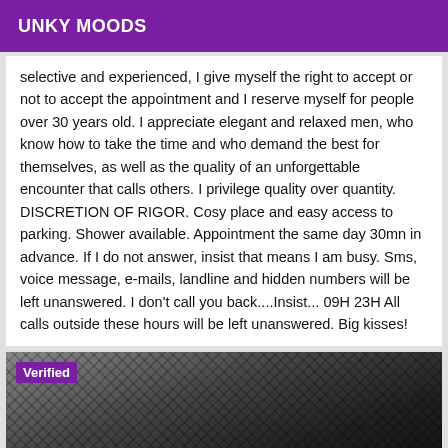UNKY MOODS
selective and experienced, I give myself the right to accept or not to accept the appointment and I reserve myself for people over 30 years old. I appreciate elegant and relaxed men, who know how to take the time and who demand the best for themselves, as well as the quality of an unforgettable encounter that calls others. I privilege quality over quantity. DISCRETION OF RIGOR. Cosy place and easy access to parking. Shower available. Appointment the same day 30mn in advance. If I do not answer, insist that means I am busy. Sms, voice message, e-mails, landline and hidden numbers will be left unanswered. I don't call you back....Insist... 09H 23H All calls outside these hours will be left unanswered. Big kisses!
[Figure (photo): Grayscale photo with a person wearing fishnet/lace headwear; 'Verified' badge overlaid in purple top-left corner]